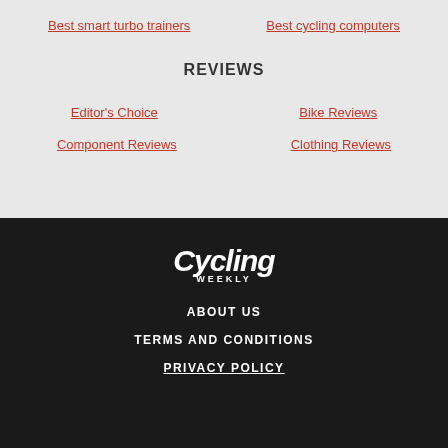Best smart turbo trainers
Best cycling computers
REVIEWS
Editor's Choice
Bike Reviews
Component Reviews
Clothing Reviews
[Figure (logo): Cycling Weekly logo in white italic bold font on dark background]
ABOUT US
TERMS AND CONDITIONS
PRIVACY POLICY